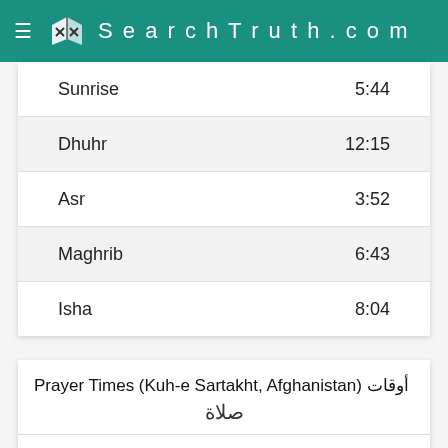SearchTruth.com
| Prayer | Time |
| --- | --- |
| Sunrise | 5:44 |
| Dhuhr | 12:15 |
| Asr | 3:52 |
| Maghrib | 6:43 |
| Isha | 8:04 |
Prayer Times (Kuh-e Sartakht, Afghanistan) أوقات صلاة
| Aug 2022 | Muharram 1444 | Fajr | Sunrise | Dhuhr | Asr | Maghrib | Isha |
| --- | --- | --- | --- | --- | --- | --- | --- |
| 1 | 3 | 3:53 | 5:25 | 12:20 | 4:02 | 7:13 | 8:41 |